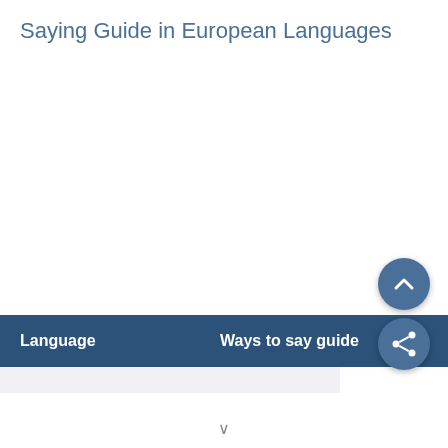Saying Guide in European Languages
[Figure (infographic): Scroll-up circular button with chevron icon, steel blue color]
[Figure (infographic): Share circular button with share icon, steel blue color]
| Language | Ways to say guide |
| --- | --- |
|  |  |